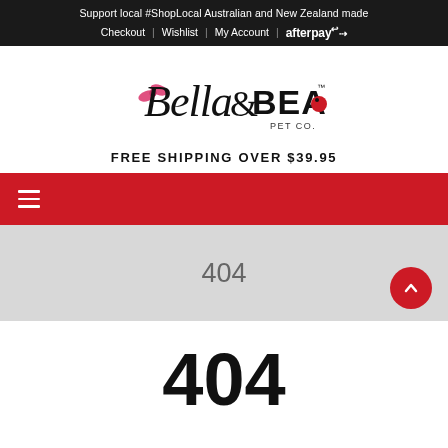Support local #ShopLocal Australian and New Zealand made
Checkout | Wishlist | My Account | afterpay
[Figure (logo): Bella & Bear Pet Co. logo in cursive black script with pink bow and red ladybug accents]
FREE SHIPPING OVER $39.95
[Figure (other): Red navigation bar with hamburger menu icon (three white lines)]
404
404